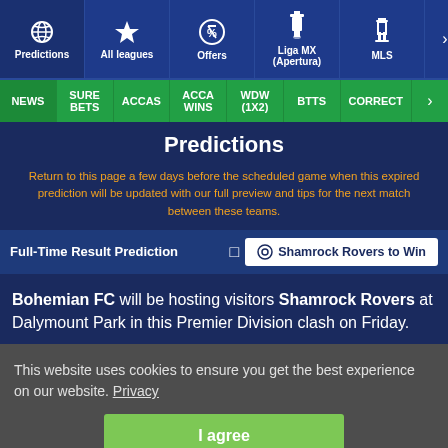Predictions | All leagues | Offers | Liga MX (Apertura) | MLS
NEWS | SURE BETS | ACCAS | ACCA WINS | WDW (1X2) | BTTS | CORRECT
Predictions
Return to this page a few days before the scheduled game when this expired prediction will be updated with our full preview and tips for the next match between these teams.
Full-Time Result Prediction  ⊙ Shamrock Rovers to Win
Bohemian FC will be hosting visitors Shamrock Rovers at Dalymount Park in this Premier Division clash on Friday.
This website uses cookies to ensure you get the best experience on our website. Privacy
I agree